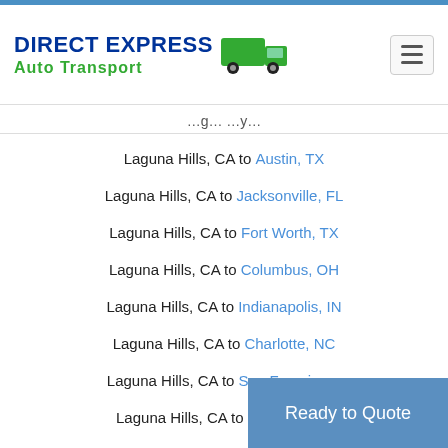Direct Express Auto Transport
Laguna Hills, CA to Austin, TX
Laguna Hills, CA to Jacksonville, FL
Laguna Hills, CA to Fort Worth, TX
Laguna Hills, CA to Columbus, OH
Laguna Hills, CA to Indianapolis, IN
Laguna Hills, CA to Charlotte, NC
Laguna Hills, CA to San Francisco, CA
Laguna Hills, CA to Seattle, WA
Laguna Hills, CA to Denver, CO